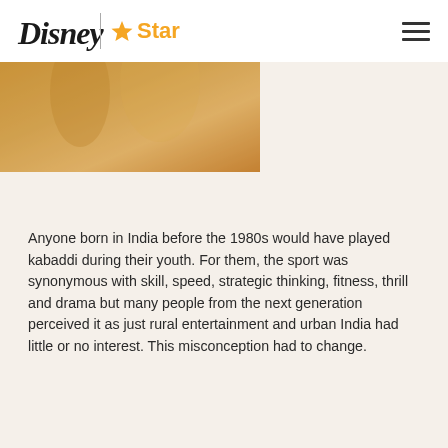Disney | Star
[Figure (photo): Hero image showing a warm golden/amber toned photograph, partially visible, depicting figures in muted tones with an orange-tan color wash]
Anyone born in India before the 1980s would have played kabaddi during their youth. For them, the sport was synonymous with skill, speed, strategic thinking, fitness, thrill and drama but many people from the next generation perceived it as just rural entertainment and urban India had little or no interest. This misconception had to change.